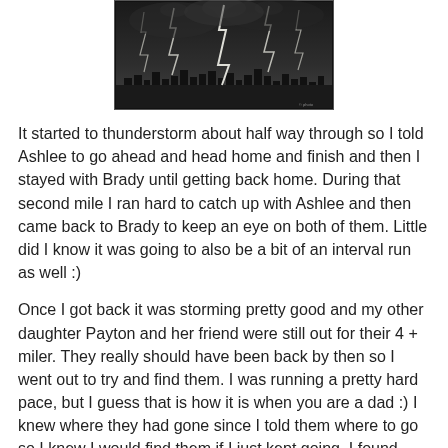[Figure (photo): Black and white photograph of a dramatic lightning storm at night, showing multiple lightning bolts striking a city skyline on the horizon, with a dark stormy sky overhead.]
It started to thunderstorm about half way through so I told Ashlee to go ahead and head home and finish and then I stayed with Brady until getting back home. During that second mile I ran hard to catch up with Ashlee and then came back to Brady to keep an eye on both of them.  Little did I know it was going to also be a bit of an interval run as well :)
Once I got back it was storming pretty good and my other daughter Payton and her friend were still out for their 4 + miler. They really should have been back by then so I went out to try and find them. I was running a pretty hard pace, but I guess that is how it is when you are a dad :) I knew where they had gone since I told them where to go so I knew I would find them if I just kept going. I found them just over a 1/2 mile out and turned and ran back with them. They had stopped and hid under a gazebo because they were scared running in the thunderstorm.